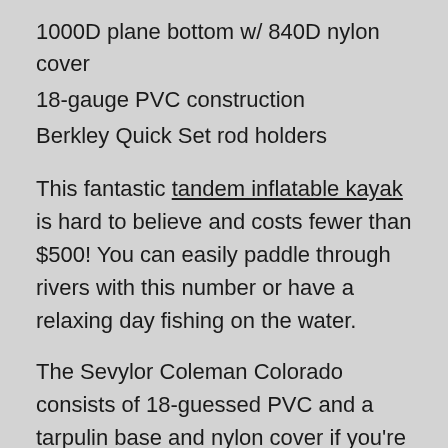1000D plane bottom w/ 840D nylon cover
18-gauge PVC construction
Berkley Quick Set rod holders
This fantastic tandem inflatable kayak is hard to believe and costs fewer than $500! You can easily paddle through rivers with this number or have a relaxing day fishing on the water.
The Sevylor Coleman Colorado consists of 18-guessed PVC and a tarpulin base and nylon cover if you're worried about puncturing an inflatable kayak, so you won't have to. You can rely on this kayak to keep you floating and on